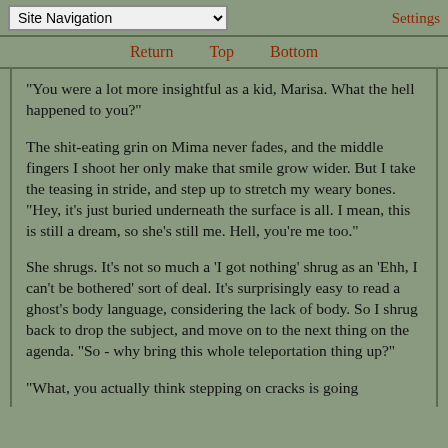Site Navigation | Settings
Return   Top   Bottom
"You were a lot more insightful as a kid, Marisa. What the hell happened to you?"
The shit-eating grin on Mima never fades, and the middle fingers I shoot her only make that smile grow wider. But I take the teasing in stride, and step up to stretch my weary bones. "Hey, it's just buried underneath the surface is all. I mean, this is still a dream, so she's still me. Hell, you're me too."
She shrugs. It's not so much a 'I got nothing' shrug as an 'Ehh, I can't be bothered' sort of deal. It's surprisingly easy to read a ghost's body language, considering the lack of body. So I shrug back to drop the subject, and move on to the next thing on the agenda. "So - why bring this whole teleportation thing up?"
"What, you actually think stepping on cracks is going